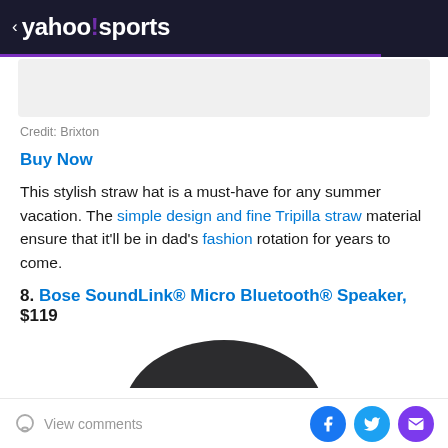< yahoo!sports
[Figure (screenshot): Gray image placeholder area]
Credit: Brixton
Buy Now
This stylish straw hat is a must-have for any summer vacation. The simple design and fine Tripilla straw material ensure that it’ll be in dad’s fashion rotation for years to come.
8. Bose SoundLink® Micro Bluetooth® Speaker, $119
[Figure (photo): Top portion of a dark Bose SoundLink Micro Bluetooth Speaker]
View comments | Facebook | Twitter | Email